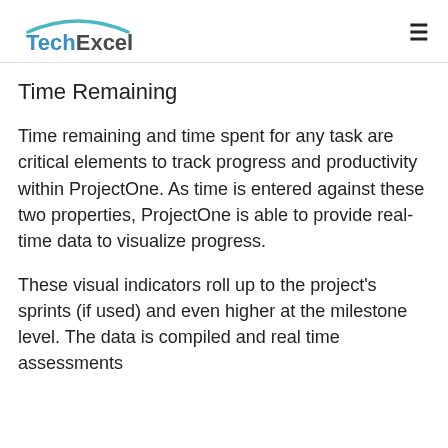TechExcel
Time Remaining
Time remaining and time spent for any task are critical elements to track progress and productivity within ProjectOne. As time is entered against these two properties, ProjectOne is able to provide real-time data to visualize progress.
These visual indicators roll up to the project's sprints (if used) and even higher at the milestone level. The data is compiled and real time assessments